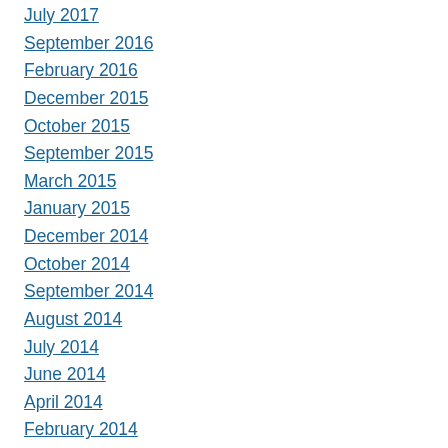July 2017
September 2016
February 2016
December 2015
October 2015
September 2015
March 2015
January 2015
December 2014
October 2014
September 2014
August 2014
July 2014
June 2014
April 2014
February 2014
January 2014
December 2013
November 2013